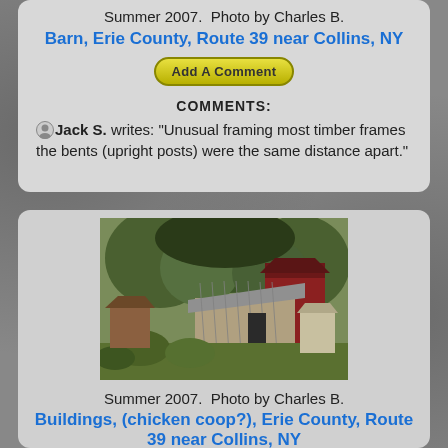Summer 2007.  Photo by Charles B.
Barn, Erie County, Route 39 near Collins, NY
Add A Comment
COMMENTS:
Jack S. writes: "Unusual framing most timber frames the bents (upright posts) were the same distance apart."
[Figure (photo): Photograph of old barn buildings including a weathered wooden shed and red barn surrounded by trees and vegetation. Summer 2007, photo by Charles B.]
Summer 2007.  Photo by Charles B.
Buildings, (chicken coop?), Erie County, Route 39 near Collins, NY
Add A Comment